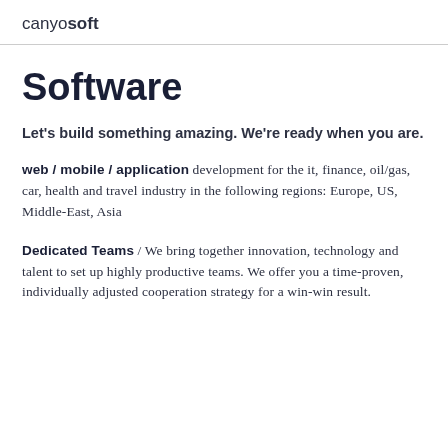canyosoft
Software
Let's build something amazing. We're ready when you are.
web / mobile / application development for the it, finance, oil/gas, car, health and travel industry in the following regions: Europe, US, Middle-East, Asia
Dedicated Teams / We bring together innovation, technology and talent to set up highly productive teams. We offer you a time-proven, individually adjusted cooperation strategy for a win-win result.